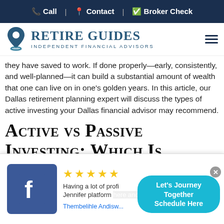Call | Contact | Broker Check
[Figure (logo): Retire Guides Independent Financial Advisors logo with map pin icon]
they have saved to work. If done properly—early, consistently, and well-planned—it can build a substantial amount of wealth that one can live on in one's golden years. In this article, our Dallas retirement planning expert will discuss the types of active investing your Dallas financial advisor may recommend.
Active vs Passive Investing: Which Is
[Figure (screenshot): Facebook review popup with 4 gold stars, review text starting 'Having a lot of profit... Jennifer platform...' by Thembelihle Andisw..., and a 'Let's Journey Together Schedule Here' CTA button]